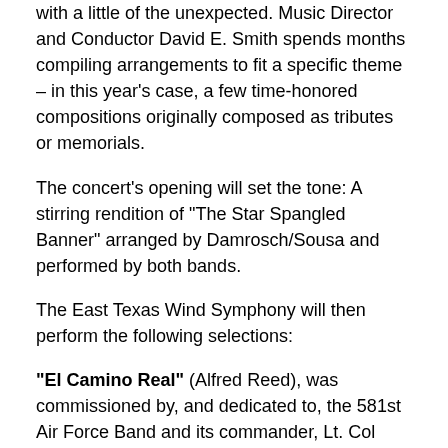with a little of the unexpected. Music Director and Conductor David E. Smith spends months compiling arrangements to fit a specific theme – in this year's case, a few time-honored compositions originally composed as tributes or memorials.
The concert's opening will set the tone: A stirring rendition of "The Star Spangled Banner" arranged by Damrosch/Sousa and performed by both bands.
The East Texas Wind Symphony will then perform the following selections:
"El Camino Real" (Alfred Reed), was commissioned by, and dedicated to, the 581st Air Force Band and its commander, Lt. Col Ray E. Toler. The title represents the Spanish term "The Royal Road" and was used to describe any road built under jurisdiction of the Spanish crown. Several Texas roads follow the original route of the U.S. section of the El Camino Real de